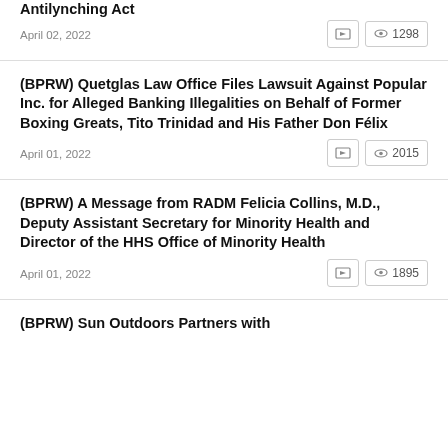Antilynching Act
April 02, 2022   1298
(BPRW) Quetglas Law Office Files Lawsuit Against Popular Inc. for Alleged Banking Illegalities on Behalf of Former Boxing Greats, Tito Trinidad and His Father Don Félix
April 01, 2022   2015
(BPRW) A Message from RADM Felicia Collins, M.D., Deputy Assistant Secretary for Minority Health and Director of the HHS Office of Minority Health
April 01, 2022   1895
(BPRW) Sun Outdoors Partners with